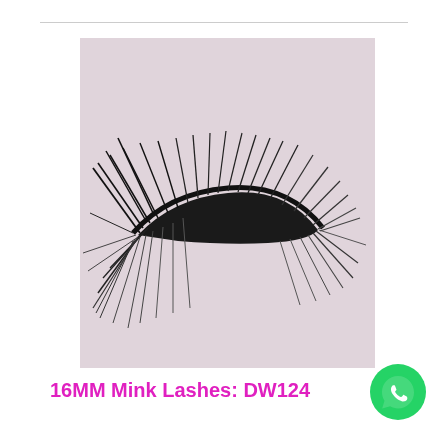[Figure (photo): Product photo of DW124 16MM Mink false eyelashes displayed on a light pink/lavender textured background with the label DW124 printed at the top. The lashes are voluminous and dramatic with long wispy strands arranged in a curved strip.]
16MM Mink Lashes: DW124